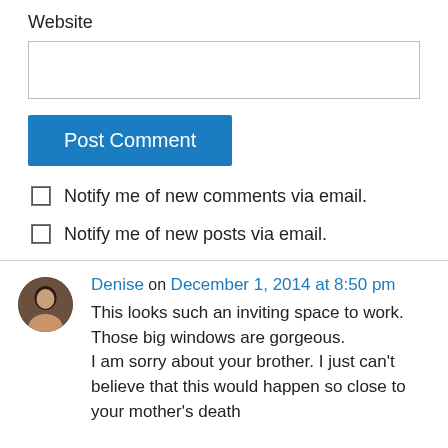Website
[Figure (other): Empty text input field for Website URL]
Post Comment
Notify me of new comments via email.
Notify me of new posts via email.
Denise on December 1, 2014 at 8:50 pm
This looks such an inviting space to work. Those big windows are gorgeous.
I am sorry about your brother. I just can't believe that this would happen so close to your mother's death